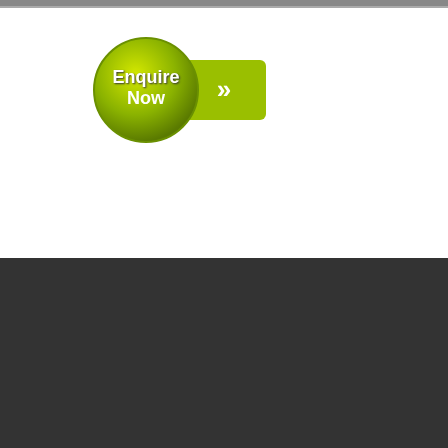[Figure (illustration): Green 'Enquire Now' button with circular badge on left and rectangular tab with double chevron arrows on right]
Back to Top
Copyright © 2013 | Adelaide Home Control
Terms and Conditions   Privacy Policy   Website